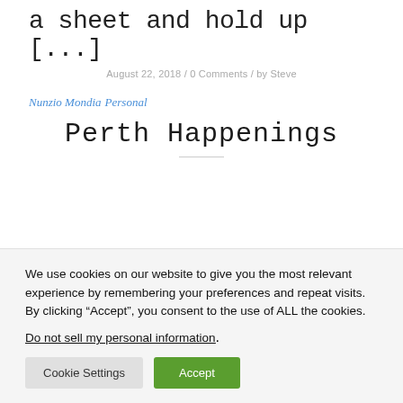a sheet and hold up [...]
August 22, 2018 / 0 Comments / by Steve
Nunzio Mondia, Personal
Perth Happenings
We use cookies on our website to give you the most relevant experience by remembering your preferences and repeat visits. By clicking “Accept”, you consent to the use of ALL the cookies.
Do not sell my personal information.